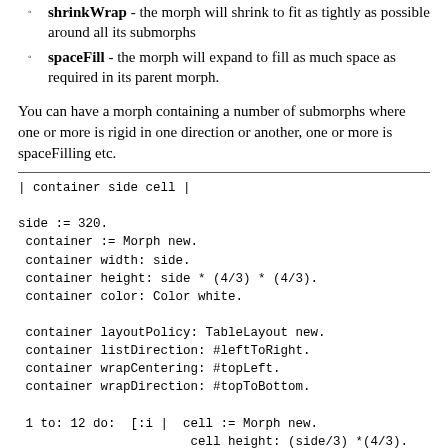shrinkWrap - the morph will shrink to fit as tightly as possible around all its submorphs
spaceFill - the morph will expand to fill as much space as required in its parent morph.
You can have a morph containing a number of submorphs where one or more is rigid in one direction or another, one or more is spaceFilling etc.
| container side cell |

side := 320.
 container := Morph new.
 container width: side.
 container height: side * (4/3) * (4/3).
 container color: Color white.

 container layoutPolicy: TableLayout new.
 container listDirection: #leftToRight.
 container wrapCentering: #topLeft.
 container wrapDirection: #topToBottom.

 1 to: 12 do:  [:i |  cell := Morph new.
                       cell height: (side/3) *(4/3).
                       cell color: Color random twiceLighter
                       cell width: (side/3) .